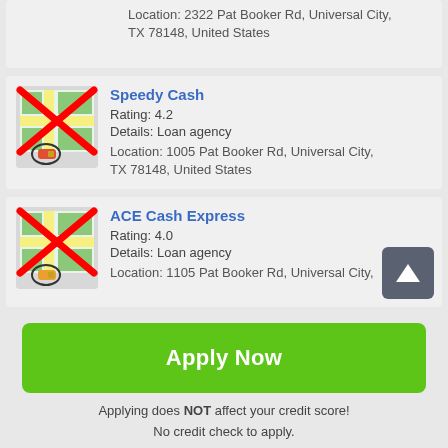Location: 2322 Pat Booker Rd, Universal City, TX 78148, United States
Speedy Cash
Rating: 4.2
Details: Loan agency
Location: 1005 Pat Booker Rd, Universal City, TX 78148, United States
ACE Cash Express
Rating: 4.0
Details: Loan agency
Location: 1105 Pat Booker Rd, Universal City,
Apply Now
Applying does NOT affect your credit score!
No credit check to apply.